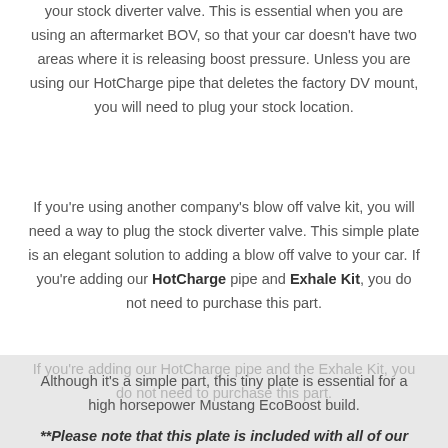your stock diverter valve. This is essential when you are using an aftermarket BOV, so that your car doesn't have two areas where it is releasing boost pressure. Unless you are using our HotCharge pipe that deletes the factory DV mount, you will need to plug your stock location.
If you're using another company's blow off valve kit, you will need a way to plug the stock diverter valve. This simple plate is an elegant solution to adding a blow off valve to your car. If you're adding our HotCharge pipe and Exhale Kit, you do not need to purchase this part.
Although it's a simple part, this tiny plate is essential for a high horsepower Mustang EcoBoost build.
**Please note that this plate is included with all of our